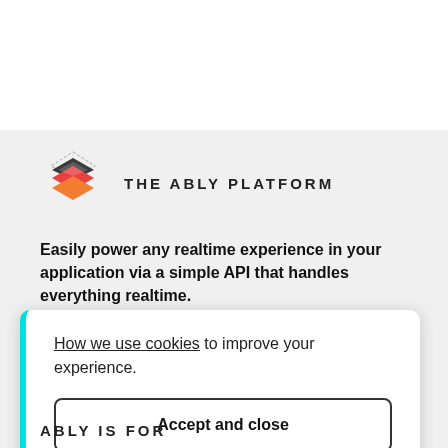[Figure (logo): Ably platform logo: layered diamond/rhombus shapes in red/orange with dotted outline on top]
THE ABLY PLATFORM
Easily power any realtime experience in your application via a simple API that handles everything realtime.
Pub/sub messaging
How we use cookies to improve your experience.
Accept and close
ABLY IS FOR